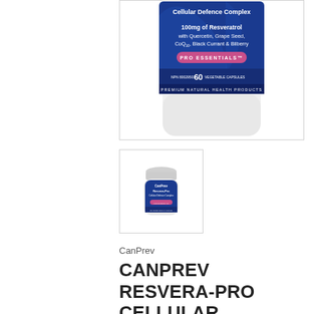[Figure (photo): Close-up of CanPrev Resvera-Pro Cellular Defence Complex supplement bottle label showing '100mg of Resveratrol with Quercetin, Grape Seed, CoQ10, Black Currant & Bilberry', PRO ESSENTIALS badge, NPN 80029503, 60 Vegetable Capsules, Premium Natural Health Products]
[Figure (photo): Thumbnail image of the full CanPrev Resvera-Pro Cellular Defence Complex supplement bottle with white cap]
CanPrev
CANPREV RESVERA-PRO CELLULAR DEFENCE COMPLEX 100 MG, 60